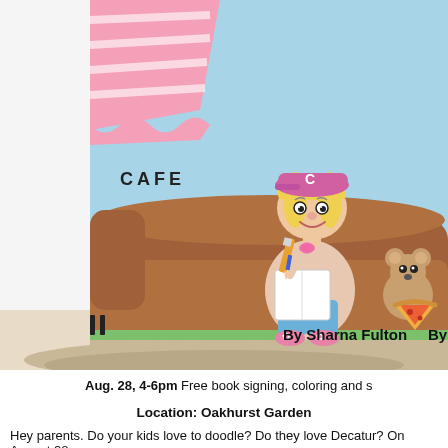[Figure (illustration): Children's book illustration showing a cartoon girl with blonde hair and a pink baseball cap sitting on a brown couch/piano bench, holding a pencil and a book. A teddy bear sits next to her with pizza. The background shows a pink striped awning with 'CAFE' written on it and a blue sky. Text 'By Sharna Fulton' appears at the bottom right of the illustration area.]
Aug. 28, 4-6pm  Free book signing, coloring and s
Location: Oakhurst Garden
Hey parents. Do your kids love to doodle? Do they love Decatur? On August 28